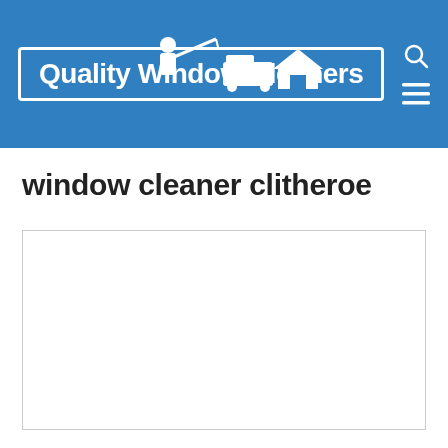[Figure (logo): Quality Window Cleaners logo on blue header background with silhouette of window cleaner, van, and house]
window cleaner clitheroe
[Figure (other): Empty white content box with light grey border]